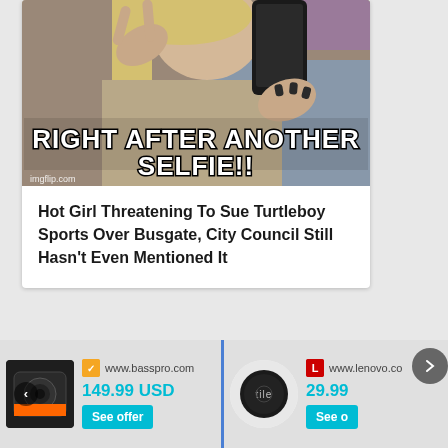[Figure (photo): Meme image of a young woman taking a selfie making a peace sign, with white bold impact font text overlay reading 'RIGHT AFTER ANOTHER SELFIE!!' and a imgflip.com watermark in the lower left corner.]
Hot Girl Threatening To Sue Turtleboy Sports Over Busgate, City Council Still Hasn't Even Mentioned It
[Figure (photo): Advertisement thumbnail showing a dark portable speaker/radio device with a navigation arrow (left chevron) overlay. Below shows www.basspro.com logo, price 149.99 USD, and a 'See offer' button in teal.]
[Figure (photo): Advertisement thumbnail showing a small round black Tile tracker device. Below shows www.lenovo.co (truncated) logo, price 29.99 (truncated), and a 'See o' button in teal (truncated).]